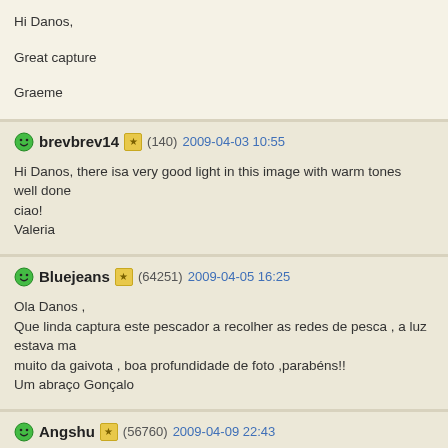Hi Danos,

Great capture

Graeme
brevbrev14 (140) 2009-04-03 10:55
Hi Danos, there isa very good light in this image with warm tones
well done
ciao!
Valeria
Bluejeans (64251) 2009-04-05 16:25
Ola Danos ,
Que linda captura este pescador a recolher as redes de pesca , a luz estava ma
muito da gaivota , boa profundidade de foto ,parabéns!!
Um abraço Gonçalo
Angshu (56760) 2009-04-09 22:43
Hello Danos
What a lovely use of light in this tranquil scene. Your decision to crop into this fo